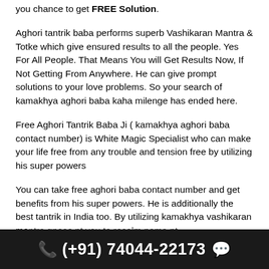you chance to get FREE Solution.
Aghori tantrik baba performs superb Vashikaran Mantra & Totke which give ensured results to all the people. Yes For All People. That Means You will Get Results Now, If Not Getting From Anywhere. He can give prompt solutions to your love problems. So your search of kamakhya aghori baba kaha milenge has ended here.
Free Aghori Tantrik Baba Ji ( kamakhya aghori baba contact number) is White Magic Specialist who can make your life free from any trouble and tension free by utilizing his super powers
You can take free aghori baba contact number and get benefits from his super powers. He is additionally the best tantrik in India too. By utilizing kamakhya vashikaran mantra gnose nt you to recalm nema nt.
(+91) 74044-22173